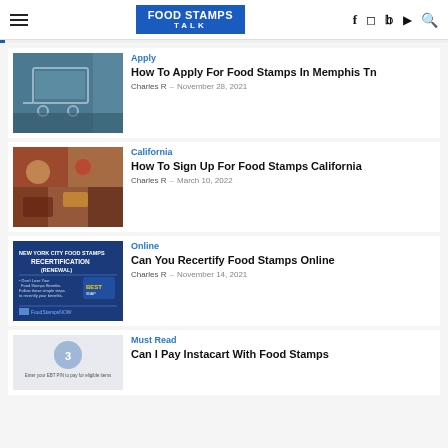FOOD STAMPS TALK — navigation header with hamburger menu, logo, social icons (f, instagram, twitter, youtube, search)
[Figure (photo): Thumbnail photo of a grocery shopping cart in a store aisle]
Apply
How To Apply For Food Stamps In Memphis Tn
Charles R  —  November 28, 2021
[Figure (photo): Thumbnail photo of groceries and food items on a surface, top-down view]
California
How To Sign Up For Food Stamps California
Charles R  —  March 10, 2022
[Figure (photo): Thumbnail image of a New York City Food Stamps Recertification (Renewal) graphic by FoodStampsNOW]
Online
Can You Recertify Food Stamps Online
Charles R  —  November 14, 2021
[Figure (photo): Thumbnail showing step 3 of entering EBT PIN to pay for eligible items]
Must Read
Can I Pay Instacart With Food Stamps